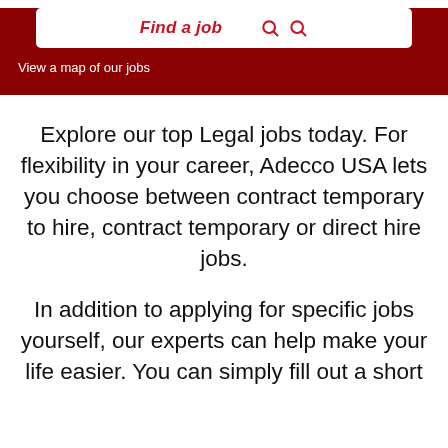Find a job
View a map of our jobs
Explore our top Legal jobs today. For flexibility in your career, Adecco USA lets you choose between contract temporary to hire, contract temporary or direct hire jobs.
In addition to applying for specific jobs yourself, our experts can help make your life easier. You can simply fill out a short